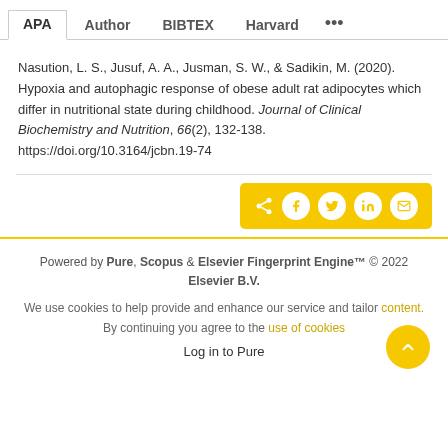APA | Author | BIBTEX | Harvard ...
Nasution, L. S., Jusuf, A. A., Jusman, S. W., & Sadikin, M. (2020). Hypoxia and autophagic response of obese adult rat adipocytes which differ in nutritional state during childhood. Journal of Clinical Biochemistry and Nutrition, 66(2), 132-138. https://doi.org/10.3164/jcbn.19-74
[Figure (other): Social share button bar with icons for share, Facebook, Twitter, LinkedIn, and email on a yellow background]
Powered by Pure, Scopus & Elsevier Fingerprint Engine™ © 2022 Elsevier B.V.
We use cookies to help provide and enhance our service and tailor content. By continuing you agree to the use of cookies
Log in to Pure